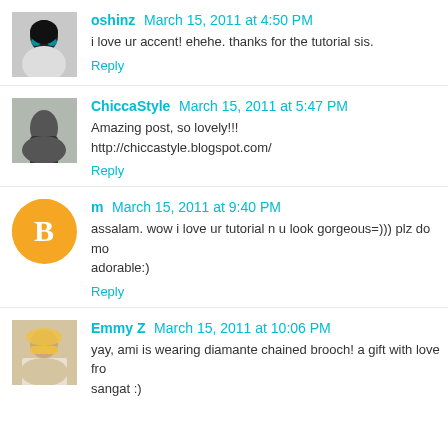oshinz March 15, 2011 at 4:50 PM
i love ur accent! ehehe. thanks for the tutorial sis.
Reply
ChiccaStyle March 15, 2011 at 5:47 PM
Amazing post, so lovely!!!
http://chiccastyle.blogspot.com/
Reply
m March 15, 2011 at 9:40 PM
assalam. wow i love ur tutorial n u look gorgeous=))) plz do mo... adorable:)
Reply
Emmy Z March 15, 2011 at 10:06 PM
yay, ami is wearing diamante chained brooch! a gift with love fro... sangat :)